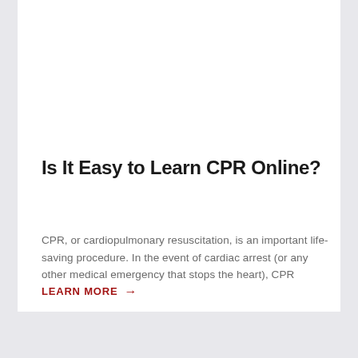Is It Easy to Learn CPR Online?
CPR, or cardiopulmonary resuscitation, is an important life-saving procedure. In the event of cardiac arrest (or any other medical emergency that stops the heart), CPR
LEARN MORE →